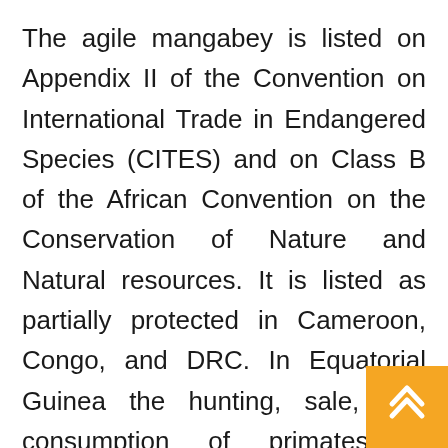The agile mangabey is listed on Appendix II of the Convention on International Trade in Endangered Species (CITES) and on Class B of the African Convention on the Conservation of Nature and Natural resources. It is listed as partially protected in Cameroon, Congo, and DRC. In Equatorial Guinea the hunting, sale, and consumption of primates is forbidden by Presidential Decree. They are also on List C of Annex 2 Ordinance 84.045 of 1984 in Central African Republic (CAR). Cameroon, Gabon, and Congo are currently revising their protection species list.